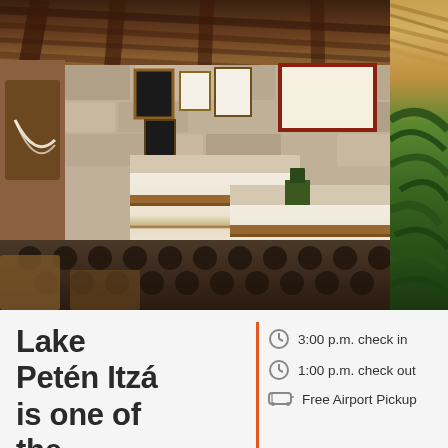[Figure (photo): Interior of a rustic lodge room with stone walls, thatched ceiling, wooden beams, two beds with white and brown striped linens, framed artwork on walls, hammock, and patterned tile floor]
[Figure (photo): Partial view of tropical thatched roof and lush green palm vegetation]
Lake Petén Itzá is one of the
3:00 p.m. check in
1:00 p.m. check out
Free Airport Pickup